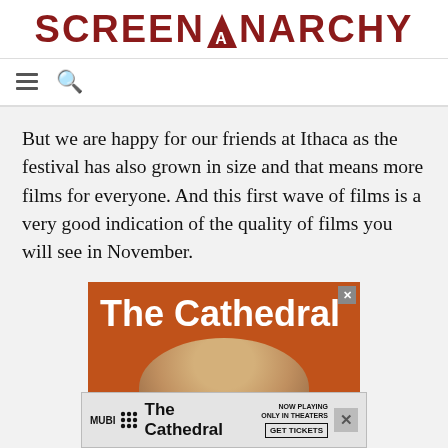SCREENANARCHY
But we are happy for our friends at Ithaca as the festival has also grown in size and that means more films for everyone. And this first wave of films is a very good indication of the quality of films you will see in November.
[Figure (illustration): Advertisement for 'The Cathedral' on MUBI. Orange/brown background with large white bold text reading 'The Cathedral' and a partial view of a person's head with blonde hair below. A close button (X) appears in the top right.]
[Figure (illustration): Bottom sticky advertisement bar for 'The Cathedral' showing MUBI logo with dots, title text 'The Cathedral', 'NOW PLAYING ONLY IN THEATERS' text, 'GET TICKETS' button, and a close X button.]